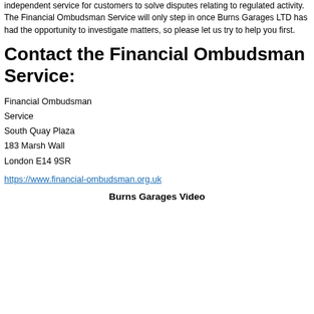independent service for customers to solve disputes relating to regulated activity. The Financial Ombudsman Service will only step in once Burns Garages LTD has had the opportunity to investigate matters, so please let us try to help you first.
Contact the Financial Ombudsman Service:
Financial Ombudsman Service
South Quay Plaza
183 Marsh Wall
London E14 9SR
https://www.financial-ombudsman.org.uk
Burns Garages Video